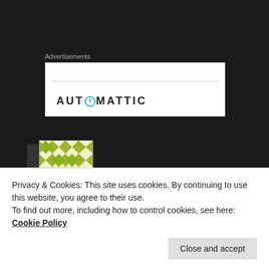Advertisements
[Figure (logo): Automattic logo in white ad box with gray horizontal rule]
[Figure (photo): Green and white geometric/quilt pattern avatar image]
Yaqi Li on June 5, 2021 at 12:59 am said:
Hi Dan! Great job!
Privacy & Cookies: This site uses cookies. By continuing to use this website, you agree to their use.
To find out more, including how to control cookies, see here: Cookie Policy
Close and accept